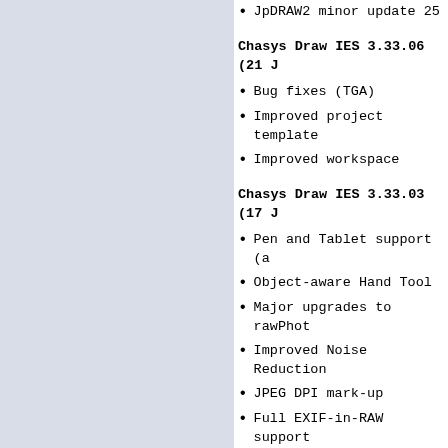JpDRAW2 minor update 25
Chasys Draw IES 3.33.06 (21 J
Bug fixes (TGA)
Improved project template
Improved workspace
Chasys Draw IES 3.33.03 (17 J
Pen and Tablet support (a
Object-aware Hand Tool
Major upgrades to rawPhot
Improved Noise Reduction
JPEG DPI mark-up
Full EXIF-in-RAW support
Image information popup :
Many fixes for UI, core a
Chasys Draw IES 3.31.01 (04 J
Many fixes for UI, core a
Completely redesigned Vie
Improved zoom functionali